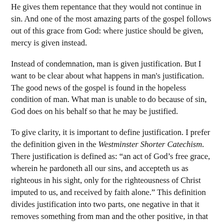He gives them repentance that they would not continue in sin. And one of the most amazing parts of the gospel follows out of this grace from God: where justice should be given, mercy is given instead.
Instead of condemnation, man is given justification. But I want to be clear about what happens in man's justification. The good news of the gospel is found in the hopeless condition of man. What man is unable to do because of sin, God does on his behalf so that he may be justified.
To give clarity, it is important to define justification. I prefer the definition given in the Westminster Shorter Catechism. There justification is defined as: “an act of God’s free grace, wherein he pardoneth all our sins, and accepteth us as righteous in his sight, only for the righteousness of Christ imputed to us, and received by faith alone.” This definition divides justification into two parts, one negative in that it removes something from man and the other positive, in that it adds something to man.